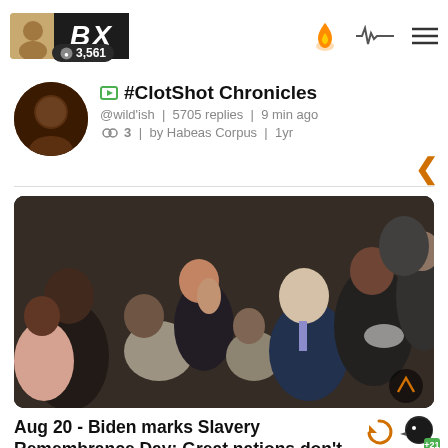BX | 3,561
#ClotShot Chronicles
@wild'ish | 5705 replies | 9 min ago
3 | by Habeas Corpus | 1yr
[Figure (photo): Group photo showing several people in formal attire gathered closely together, including political figures]
Aug 20 - Biden marks Slavery Remembrance Day: Great nations don't